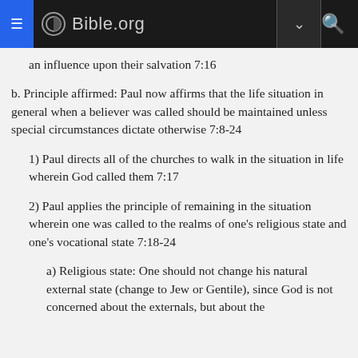Bible.org
an influence upon their salvation 7:16
b. Principle affirmed: Paul now affirms that the life situation in general when a believer was called should be maintained unless special circumstances dictate otherwise 7:8-24
1) Paul directs all of the churches to walk in the situation in life wherein God called them 7:17
2) Paul applies the principle of remaining in the situation wherein one was called to the realms of one's religious state and one's vocational state 7:18-24
a) Religious state: One should not change his natural external state (change to Jew or Gentile), since God is not concerned about the externals, but about the